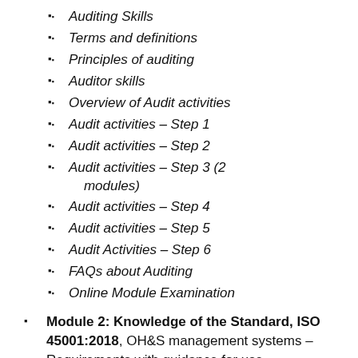Auditing Skills
Terms and definitions
Principles of auditing
Auditor skills
Overview of Audit activities
Audit activities – Step 1
Audit activities – Step 2
Audit activities – Step 3 (2 modules)
Audit activities – Step 4
Audit activities – Step 5
Audit Activities – Step 6
FAQs about Auditing
Online Module Examination
Module 2: Knowledge of the Standard, ISO 45001:2018, OH&S management systems – Requirements with guidance for use
Introduction to ISO 45001